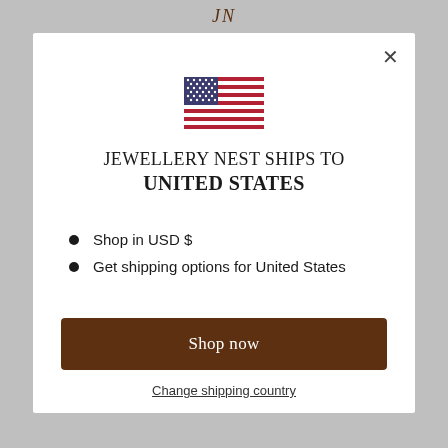[Figure (screenshot): Screenshot of a website popup/modal on Jewellery Nest. Background is gray, modal is white with a US flag icon, shipping information, and call-to-action button.]
JEWELLERY NEST SHIPS TO UNITED STATES
Shop in USD $
Get shipping options for United States
Shop now
Change shipping country